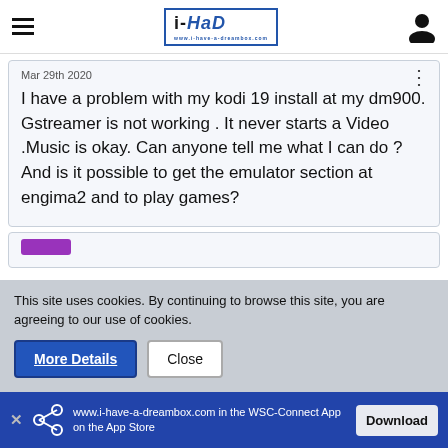i-HaD logo header with hamburger menu and user icon
Mar 29th 2020
I have a problem with my kodi 19 install at my dm900. Gstreamer is not working . It never starts a Video .Music is okay. Can anyone tell me what I can do ? And is it possible to get the emulator section at engima2 and to play games?
This site uses cookies. By continuing to browse this site, you are agreeing to our use of cookies.
More Details
Close
www.i-have-a-dreambox.com in the WSC-Connect App on the App Store
Download